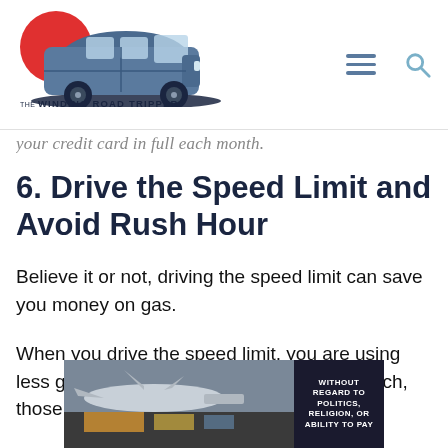[Figure (logo): The Winding Road Tripper logo with van illustration and red circle]
your credit card in full each month.
6. Drive the Speed Limit and Avoid Rush Hour
Believe it or not, driving the speed limit can save you money on gas.
When you drive the speed limit, you are using less gas. And while it may not seem like much, those pennies add up over the course
[Figure (photo): Advertisement banner showing cargo airplane with text WITHOUT REGARD TO POLITICS, RELIGION, OR ABILITY TO PAY]